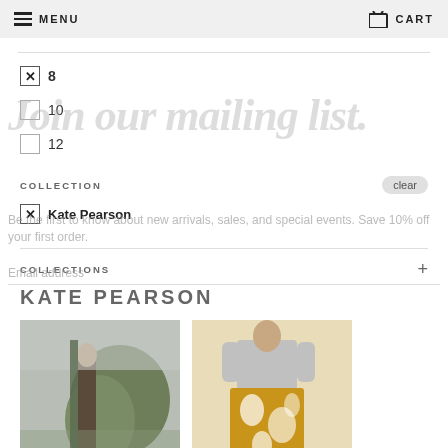MENU  CART
☑ 8
☐ 10
☐ 12
COLLECTION  clear
☑ Kate Pearson
COLLECTIONS +
KATE PEARSON
[Figure (photo): Fashion product photo 1 - person in outdoor setting]
[Figure (photo): Fashion product photo 2 - person wearing skirt with floral pattern]